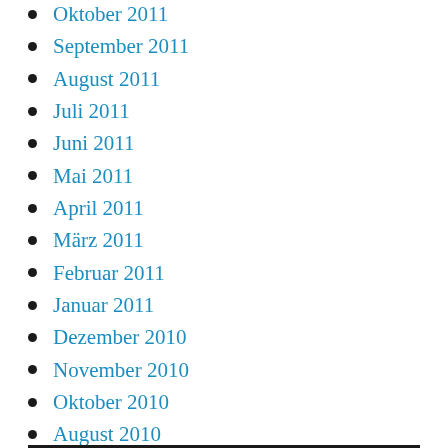Oktober 2011
September 2011
August 2011
Juli 2011
Juni 2011
Mai 2011
April 2011
März 2011
Februar 2011
Januar 2011
Dezember 2010
November 2010
Oktober 2010
August 2010